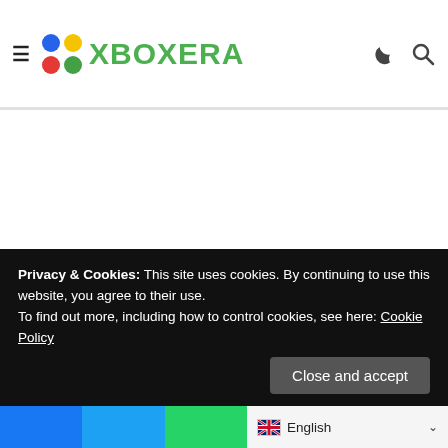XboxEra
Privacy & Cookies: This site uses cookies. By continuing to use this website, you agree to their use.
To find out more, including how to control cookies, see here: Cookie Policy
Close and accept
English